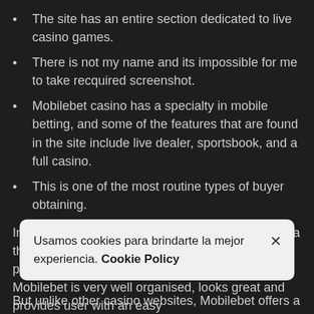The site has an entire section dedicated to live casino games.
There is not my name and its impossible for me to take recquired screenshot.
Mobilebet casino has a specialty in mobile betting, and some of the features that are found in the site include live dealer, sportsbook, and a full casino.
This is one of the most routine types of buyer obtaining.
Indeed, if it wasn't for the name, you'd have no idea that this site was focussed specifically on mobile players if you were using the desktop site. Mobilebet is very well organised, looks great and provides user with an easy
Usamos cookies para brindarte la mejor experiencia. Cookie Policy
But unlike other casino websites, Mobilebet offers a